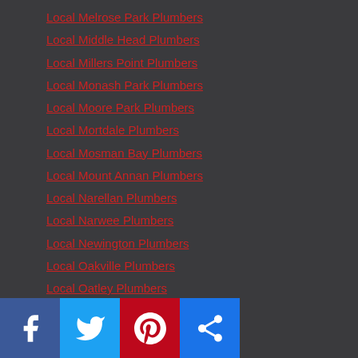Local Melrose Park Plumbers
Local Middle Head Plumbers
Local Millers Point Plumbers
Local Monash Park Plumbers
Local Moore Park Plumbers
Local Mortdale Plumbers
Local Mosman Bay Plumbers
Local Mount Annan Plumbers
Local Narellan Plumbers
Local Narwee Plumbers
Local Newington Plumbers
Local Oakville Plumbers
Local Oatley Plumbers
Local Oran Park Plumbers
Local Paddington Plumbers
Local Pagewood Plumbers
Local Peakhurst Plumbers
Local Penrith Plumbers
Local Pitt Town Plumbers